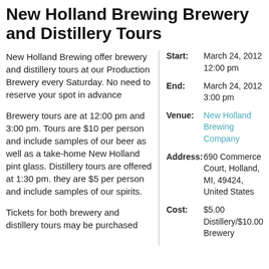New Holland Brewing Brewery and Distillery Tours
New Holland Brewing offer brewery and distillery tours at our Production Brewery every Saturday. No need to reserve your spot in advance
Brewery tours are at 12:00 pm and 3:00 pm. Tours are $10 per person and include samples of our beer as well as a take-home New Holland pint glass. Distillery tours are offered at 1:30 pm. they are $5 per person and include samples of our spirits.
Tickets for both brewery and distillery tours may be purchased
| Label | Value |
| --- | --- |
| Start: | March 24, 2012 12:00 pm |
| End: | March 24, 2012 3:00 pm |
| Venue: | New Holland Brewing Company |
| Address: | 690 Commerce Court, Holland, MI, 49424, United States |
| Cost: | $5.00 Distillery/$10.00 Brewery |